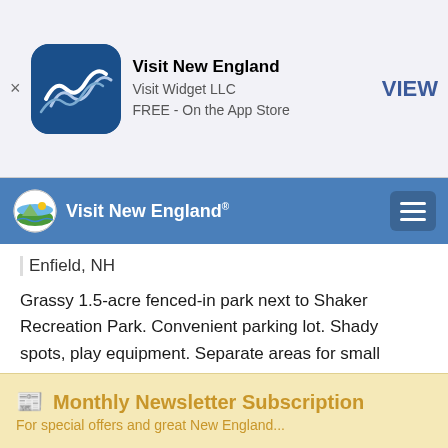[Figure (screenshot): App Store banner with Visit New England app icon, name, company (Visit Widget LLC), price (FREE - On the App Store), and VIEW button]
Visit New England | Visit Widget LLC | FREE - On the App Store | VIEW
[Figure (logo): Visit New England navigation bar with circular logo and hamburger menu]
Shaker Field Dog Park
535 Route 4A
Enfield, NH
Grassy 1.5-acre fenced-in park next to Shaker Recreation Park. Convenient parking lot. Shady spots, play equipment. Separate areas for small (under 30 pounds) and larger dogs.
Hours: Dawn to dusk
Dog Rules: Dogs must be free of sickness, infections, parasites, and have current rabies and license tags attached to their collars. Dogs over 1 year old must be spayed or neutered. Puppies must be...
Monthly Newsletter Subscription
For special offers and great New England...